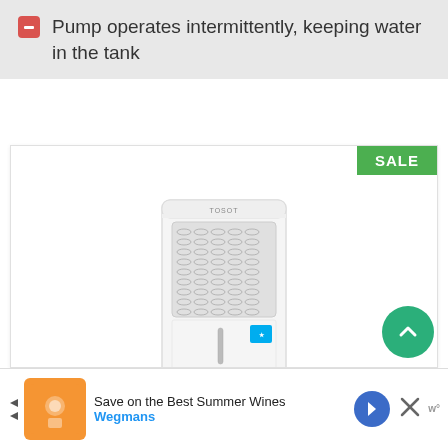Pump operates intermittently, keeping water in the tank
[Figure (photo): TOSOT 50 Pint dehumidifier product photo with SALE badge in green top-right corner. White rectangular unit with vent grille on top half, handle on lower portion, ENERGY STAR label, and casters at base.]
TOSOT 50 Pint with Internal Pump 4,500 Sq Ft Dehumidifier Energy Star - for Home, Basement, Bedroom or Bathroom - Super Quiet (Previous 70
[Figure (screenshot): Advertisement banner: Save on the Best Summer Wines - Wegmans, with orange branded image, blue navigation icon, and close X button.]